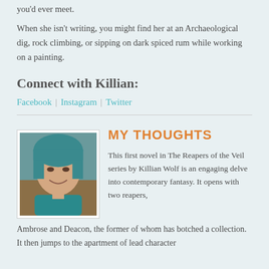you'd ever meet.
When she isn't writing, you might find her at an Archaeological dig, rock climbing, or sipping on dark spiced rum while working on a painting.
Connect with Killian:
Facebook | Instagram | Twitter
MY THOUGHTS
[Figure (photo): Author photo: woman with teal/blue hair, smiling, wearing a teal top]
This first novel in The Reapers of the Veil series by Killian Wolf is an engaging delve into contemporary fantasy. It opens with two reapers, Ambrose and Deacon, the former of whom has botched a collection. It then jumps to the apartment of lead character